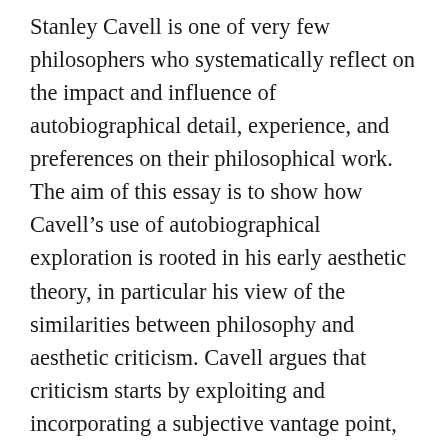Stanley Cavell is one of very few philosophers who systematically reflect on the impact and influence of autobiographical detail, experience, and preferences on their philosophical work. The aim of this essay is to show how Cavell's use of autobiographical exploration is rooted in his early aesthetic theory, in particular his view of the similarities between philosophy and aesthetic criticism. Cavell argues that criticism starts by exploiting and incorporating a subjective vantage point, eventually bringing the reader to test the significance of a work on herself. In his 'Aesthetic Problems of Modern Philosophy', Cavell states exactly this form of appeal to the 'We' of author and reader as the basic move of his own version of 'ordinary language philosophy'. It is because of the connections Cavell sees between criticism and